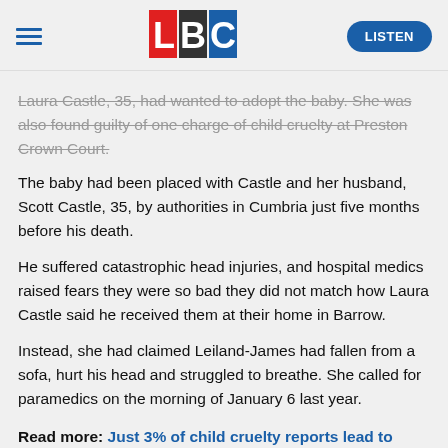LBC | LISTEN
Laura Castle, 35, had wanted to adopt the baby. She was also found guilty of one charge of child cruelty at Preston Crown Court.
The baby had been placed with Castle and her husband, Scott Castle, 35, by authorities in Cumbria just five months before his death.
He suffered catastrophic head injuries, and hospital medics raised fears they were so bad they did not match how Laura Castle said he received them at their home in Barrow.
Instead, she had claimed Leiland-James had fallen from a sofa, hurt his head and struggled to breathe. She called for paramedics on the morning of January 6 last year.
Read more: Just 3% of child cruelty reports lead to court as